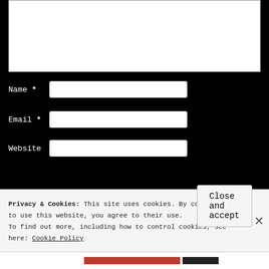[Figure (screenshot): White textarea input box at the top of a comment form on a black background]
Name *
Email *
Website
Post Comment
Privacy & Cookies: This site uses cookies. By continuing to use this website, you agree to their use. To find out more, including how to control cookies, see here: Cookie Policy
Close and accept